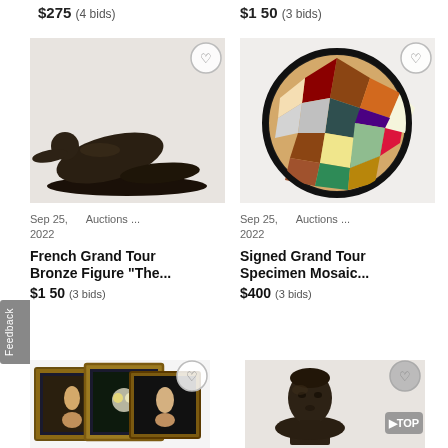$275 (4 bids)
$150 (3 bids)
[Figure (photo): Bronze sculpture of a reclining male figure, dark patina, on oval base]
[Figure (photo): Circular mosaic decorative plate with colorful stone specimen inlays in geometric pattern, dark border]
Sep 25, 2022    Auctions ...
Sep 25, 2022    Auctions ...
French Grand Tour Bronze Figure "The...
Signed Grand Tour Specimen Mosaic...
$150 (3 bids)
$400 (3 bids)
[Figure (photo): Three framed paintings/artworks in gold frames, Grand Tour subjects]
[Figure (photo): Bronze bust of a young man, classical style]